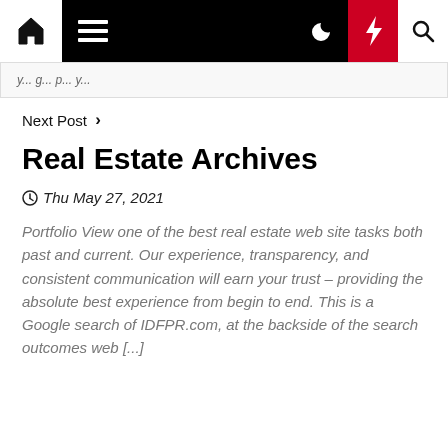Navigation bar with home, menu, moon, bolt, and search icons
Next Post >
Real Estate Archives
Thu May 27, 2021
Portfolio View one of the best real estate web site tasks both past and current. Our experience, transparency, and consistent communication will earn your trust – providing the absolute best experience from begin to end. This is a Google search of IDFPR.com, at the backside of the search outcomes web [...]